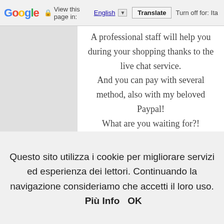Google | View this page in: English [▼] Translate | Turn off for: Ita
A professional staff will help you during your shopping thanks to the live chat service. And you can pay with several method, also with my beloved Paypal! What are you waiting for?! Let me know what do you think about my selection for you;-) Xoxo
COLLABORAZIONI BLOGGER , FASHION BLOGGER FAMOSE , FASHION BLOGGER ITALIANE , MY GLAM POND , NEWCHIC REVIEW , SHOPPING
Questo sito utilizza i cookie per migliorare servizi ed esperienza dei lettori. Continuando la navigazione consideriamo che accetti il loro uso.  Più Info   OK